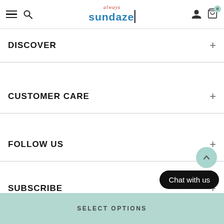always sundaze
DISCOVER
CUSTOMER CARE
FOLLOW US
SUBSCRIBE
Chat with us
SELECT OPTIONS